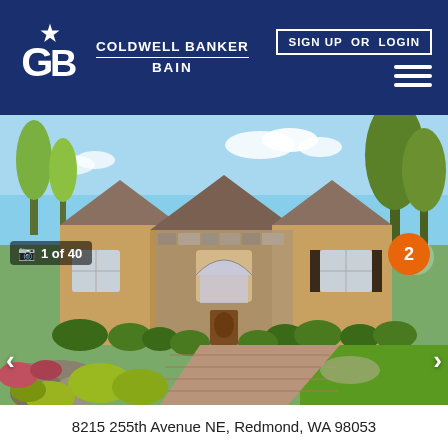[Figure (logo): Coldwell Banker Bain logo with CB monogram and star on dark blue header background]
SIGN UP  OR  LOGIN
[Figure (photo): Exterior photo of a large luxury home with stucco and stone facade, arched windows, gabled roof, manicured shrubs, brick paver circular driveway, and lush green landscaping under a blue sky. Overlay shows '1 of 40' photo counter, heart icon, left/right navigation arrows, and orange circle with number 2.]
8215 255th Avenue NE, Redmond, WA 98053